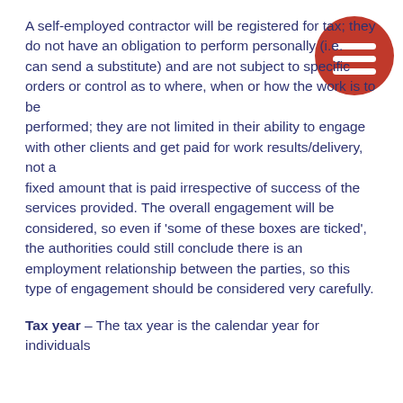A self-employed contractor will be registered for tax; they do not have an obligation to perform personally (i.e. can send a substitute) and are not subject to specific orders or control as to where, when or how the work is to be performed; they are not limited in their ability to engage with other clients and get paid for work results/delivery, not a fixed amount that is paid irrespective of success of the services provided. The overall engagement will be considered, so even if 'some of these boxes are ticked', the authorities could still conclude there is an employment relationship between the parties, so this type of engagement should be considered very carefully.
Tax year – The tax year is the calendar year for individuals